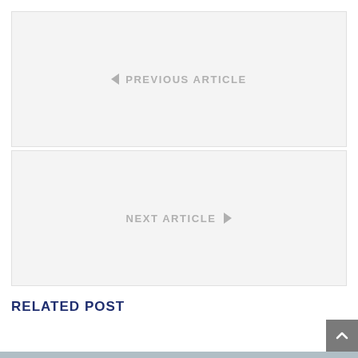◄ PREVIOUS ARTICLE
NEXT ARTICLE ►
RELATED POST